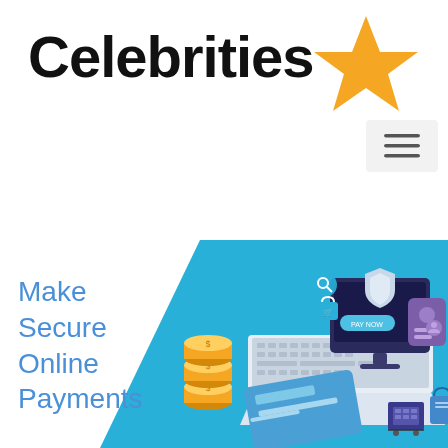Celebrities
[Figure (logo): Orange star logo next to the Celebrities text]
[Figure (illustration): Hamburger menu icon (three horizontal lines) in a light gray box]
[Figure (illustration): Isometric illustration of secure online payments: laptop with credit card, stacked gold coins, computer monitor with shield, shopping cart, payment UI elements on a blue and white background]
Make Secure Online Payments